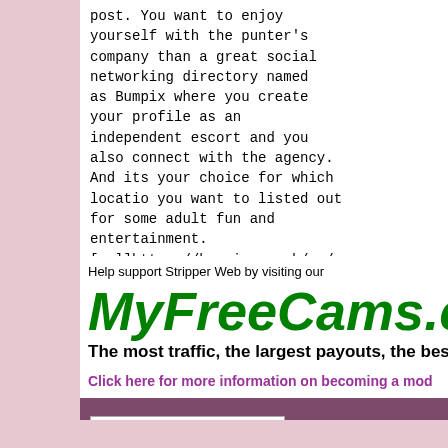post. You want to enjoy yourself with the punter's company than a great social networking directory named as Bumpix where you create your profile as an independent escort and you also connect with the agency. And its your choice for which locatio you want to listed out for some adult fun and entertainment. [url]https://bumpix.co.uk/en/mar
Help support Stripper Web by visiting our
[Figure (logo): MyFreeCams.c logo in large green italic bold text]
The most traffic, the largest payouts, the best
Click here for more information on becoming a mod
-- Classic Pink   Conta
All times are GMT -7. The time now is 12:5
Site and content Copyright © StripperWeb.com - See Terms of S